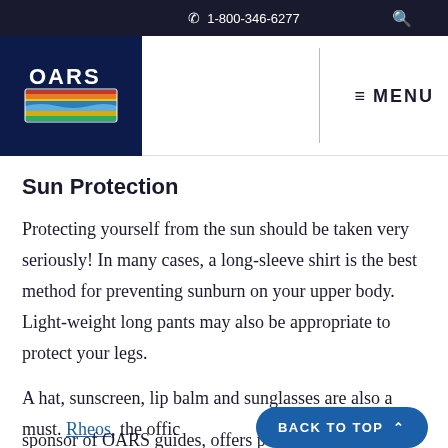1-800-346-6277
[Figure (logo): OARS rafting company logo on dark blue background with colorful river/landscape graphic]
Sun Protection
Protecting yourself from the sun should be taken very seriously! In many cases, a long-sleeve shirt is the best method for preventing sunburn on your upper body. Light-weight long pants may also be appropriate to protect your legs.
A hat, sunscreen, lip balm and sunglasses are also a must. Rheos, the offic… sponsor of OARS guides, offers polarized